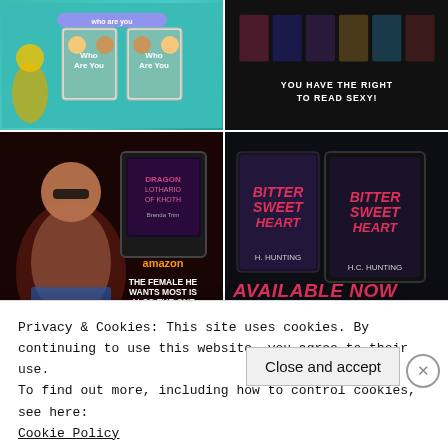[Figure (illustration): Children's book covers showing cartoon characters on teal/blue background]
[Figure (illustration): Dark romance book covers with text: YOU HAVE THE RIGHT TO READ SEXY!]
[Figure (illustration): Dragon romance book ad: THE FEMALE HE WANTS MOST IS ALSO THE ONE MOST LIKELY TO KILL HIM. Amazon. Dragon Lothario of Khoth by Brenda Trim]
[Figure (illustration): Bittersweet Heart by H. Hunting. AVAILABLE NOW. Read FREE in Kindle Unlimited]
Privacy & Cookies: This site uses cookies. By continuing to use this website, you agree to their use.
To find out more, including how to control cookies, see here:
Cookie Policy
Close and accept
Discover new reads on the go.
GET THE APP